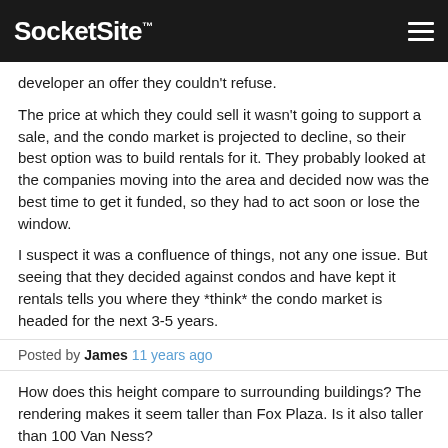SocketSite™
developer an offer they couldn't refuse.

The price at which they could sell it wasn't going to support a sale, and the condo market is projected to decline, so their best option was to build rentals for it. They probably looked at the companies moving into the area and decided now was the best time to get it funded, so they had to act soon or lose the window.

I suspect it was a confluence of things, not any one issue. But seeing that they decided against condos and have kept it rentals tells you where they *think* the condo market is headed for the next 3-5 years.
Posted by James 11 years ago
How does this height compare to surrounding buildings? The rendering makes it seem taller than Fox Plaza. Is it also taller than 100 Van Ness?
Posted by BayAreaBum 11 years ago
So by going rentals this will not be condo-mapped?
Or do they condo-map it and have the right to sell as condos in